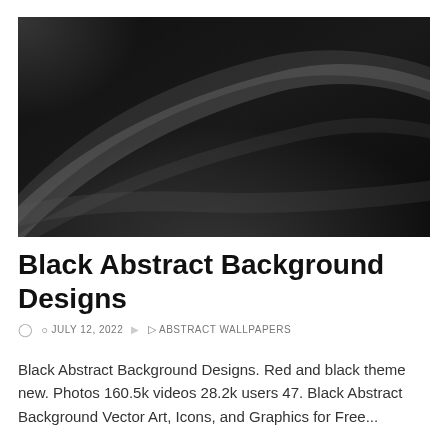[Figure (photo): Abstract black and grey swirling smooth curves background image, dark tones with a bright white light area in the upper left portion]
Black Abstract Background Designs
JULY 12, 2022   ABSTRACT WALLPAPERS
Black Abstract Background Designs. Red and black theme new. Photos 160.5k videos 28.2k users 47. Black Abstract Background Vector Art, Icons, and Graphics for Free...